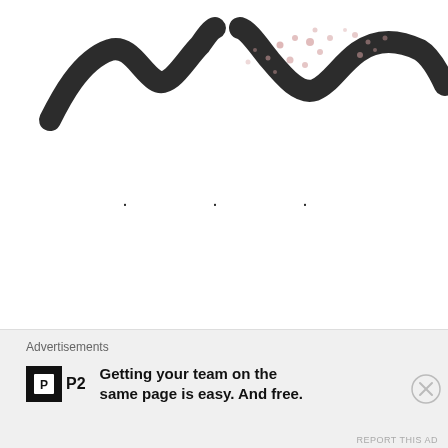[Figure (illustration): Abstract illustration of wavy dark brush strokes with pink/rose colored dots scattered in the middle, on a white background, cropped at top]
. . .
Hopefully this year will be kinder to us all. What are your mantras for this year?
Advertisements
P2 Getting your team on the same page is easy. And free.